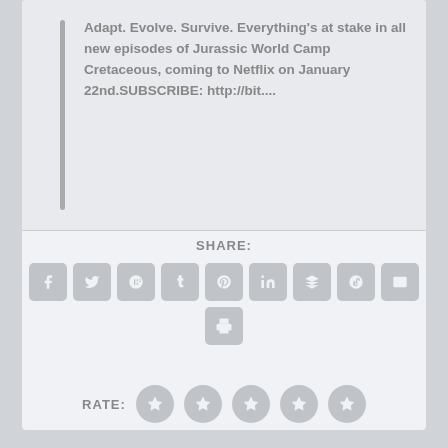Adapt. Evolve. Survive. Everything's at stake in all new episodes of Jurassic World Camp Cretaceous, coming to Netflix on January 22nd.SUBSCRIBE: http://bit....
SHARE:
RATE: